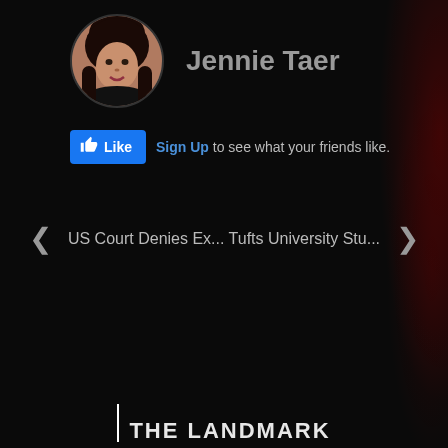[Figure (photo): Circular profile photo of a young woman with dark hair, against a dark background]
Jennie Taer
[Figure (screenshot): Facebook-style Like button (blue) with thumbs up icon, followed by 'Sign Up to see what your friends like.' text]
< US Court Denies Ex... Tufts University Stu... >
[Figure (logo): Partial logo at the bottom with a vertical white line and partially visible white text]